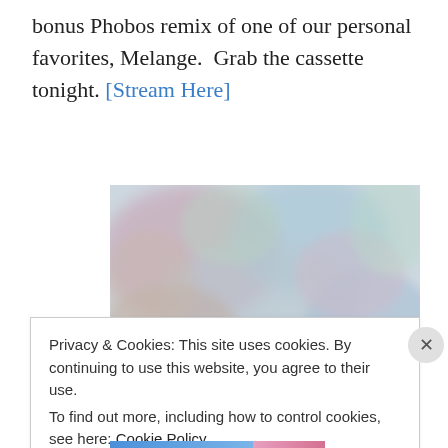bonus Phobos remix of one of our personal favorites, Melange.  Grab the cassette tonight. [Stream Here]
[Figure (photo): Abstract colorful texture image with pastel blues, pinks, and greens]
Privacy & Cookies: This site uses cookies. By continuing to use this website, you agree to their use. To find out more, including how to control cookies, see here: Cookie Policy